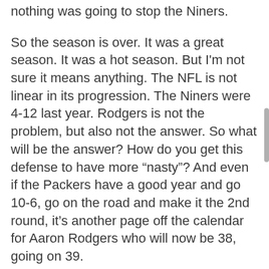nothing was going to stop the Niners.
So the season is over. It was a great season. It was a hot season. But I'm not sure it means anything. The NFL is not linear in its progression. The Niners were 4-12 last year. Rodgers is not the problem, but also not the answer. So what will be the answer? How do you get this defense to have more “nasty”? And even if the Packers have a good year and go 10-6, go on the road and make it the 2nd round, it’s another page off the calendar for Aaron Rodgers who will now be 38, going on 39.
I love this kid LaFleur and it was a hell of a season to enjoy after the teeth-gnashing, remote-smashing, aggravating as fuck year the 6-9-1 season was under Mike McCarthy but mostly it’s about it continuing...